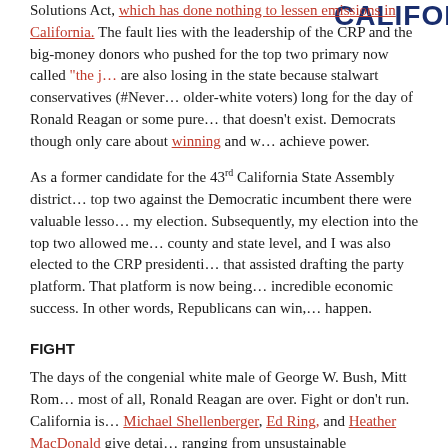Solutions Act, which has done nothing to lessen emissions in California. The fault lies with the leadership of the CRP and the big-money donors who pushed for the top two primary now called "the j… are also losing in the state because stalwart conservatives (#Never… older-white voters) long for the day of Ronald Reagan or some pure… that doesn't exist. Democrats though only care about winning and w… achieve power.
[Figure (logo): CALIFORNIA text logo in dark navy/blue bold uppercase letters]
As a former candidate for the 43rd California State Assembly district… top two against the Democratic incumbent there were valuable lesso… my election. Subsequently, my election into the top two allowed me… county and state level, and I was also elected to the CRP presidenti… that assisted drafting the party platform. That platform is now being… incredible economic success. In other words, Republicans can win,… happen.
FIGHT
The days of the congenial white male of George W. Bush, Mitt Rom… most of all, Ronald Reagan are over. Fight or don't run. California is… Michael Shellenberger, Ed Ring, and Heather MacDonald give detai… ranging from unsustainable environmental laws to racism emanating… party. Ed Ring also gives policy recommendations for any candidate…